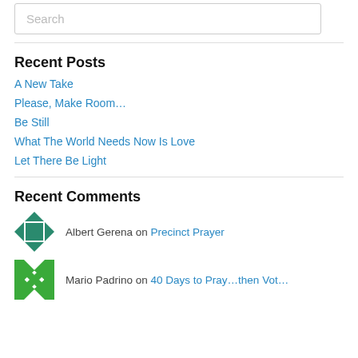Search
Recent Posts
A New Take
Please, Make Room…
Be Still
What The World Needs Now Is Love
Let There Be Light
Recent Comments
Albert Gerena on Precinct Prayer
Mario Padrino on 40 Days to Pray…then Vot…